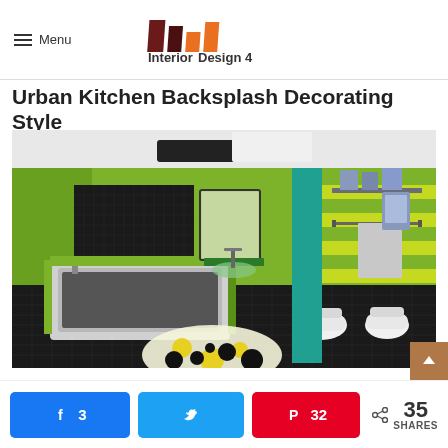Menu | Interior Design 4 — better living, better Designing
Urban Kitchen Backsplash Decorating Style
[Figure (photo): 3D render of a modern bathroom with lime green walls, black mosaic tile floor, a bathtub, wall-mounted toilet, bidet, glass sink vanity, wall-mounted towel bar, and a colorful round rug with black and yellow circles.]
3  [Facebook share]  [Twitter share]  32 [Pinterest share]  < 35 SHARES